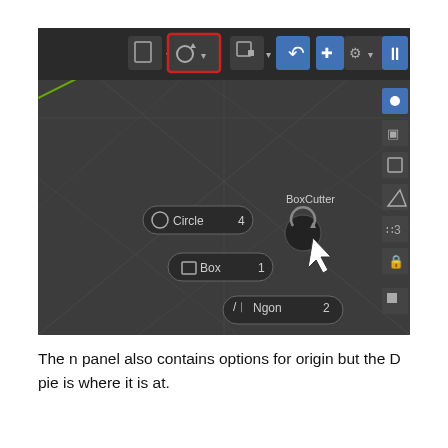[Figure (screenshot): A Blender 3D viewport screenshot showing the header toolbar with a BoxCutter pie menu highlighted with a red rectangle around the origin/transform icon. The viewport is dark-themed showing circular cross-hairs, and a floating menu with Circle 4, Box 1, and Ngon 2 options, plus a BoxCutter label with a circular icon and cursor.]
The n panel also contains options for origin but the D pie is where it is at.